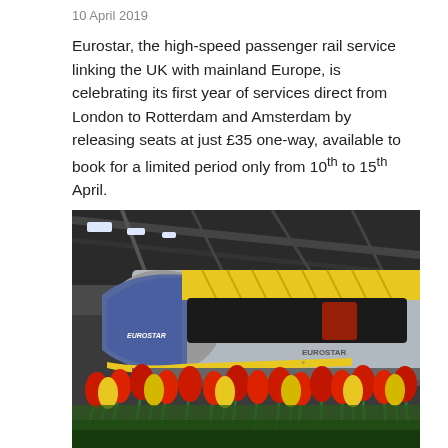10 April 2019
Eurostar, the high-speed passenger rail service linking the UK with mainland Europe, is celebrating its first year of services direct from London to Rotterdam and Amsterdam by releasing seats at just £35 one-way, available to book for a limited period only from 10th to 15th April.
[Figure (photo): A Eurostar high-speed train (number 4031) in blue, grey and yellow livery at a station platform, photographed from a low angle with colourful yellow and red tulips in the foreground.]